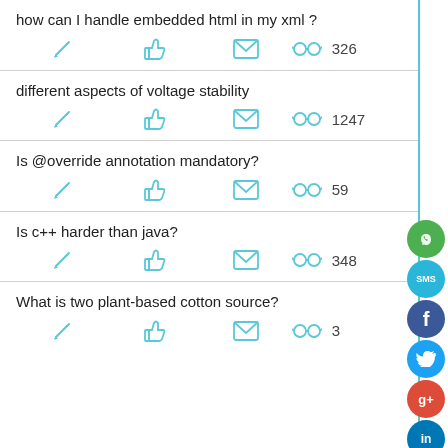how can I handle embedded html in my xml ?
different aspects of voltage stability
Is @override annotation mandatory?
Is c++ harder than java?
What is two plant-based cotton source?